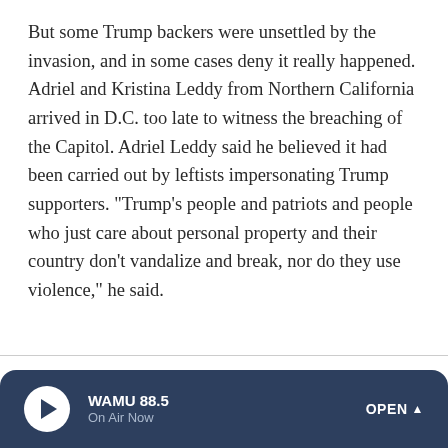But some Trump backers were unsettled by the invasion, and in some cases deny it really happened. Adriel and Kristina Leddy from Northern California arrived in D.C. too late to witness the breaching of the Capitol. Adriel Leddy said he believed it had been carried out by leftists impersonating Trump supporters. "Trump's people and patriots and people who just care about personal property and their country don't vandalize and break, nor do they use violence," he said.
Sponsor Message
WAMU 88.5 On Air Now OPEN